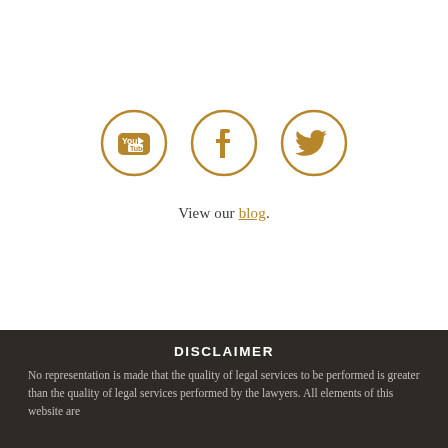[Figure (illustration): Three circular social media icons in gold/brown outline: YouTube, Facebook, Twitter]
View our blog.
DISCLAIMER
No representation is made that the quality of legal services to be performed is greater than the quality of legal services performed by the lawyers. All elements of this website are